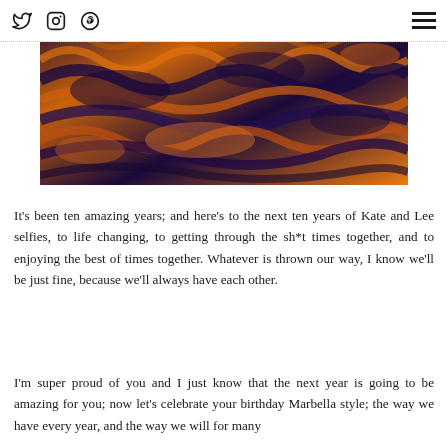Social media icons (Twitter, Instagram, Pinterest) and hamburger menu
[Figure (photo): Aerial or close-up photo of sand dunes with dramatic orange/amber and deep purple/navy color contrast, showing rippled sandy texture]
It's been ten amazing years; and here's to the next ten years of Kate and Lee selfies, to life changing, to getting through the sh*t times together, and to enjoying the best of times together. Whatever is thrown our way, I know we'll be just fine, because we'll always have each other.
I'm super proud of you and I just know that the next year is going to be amazing for you; now let's celebrate your birthday Marbella style; the way we have every year, and the way we will for many